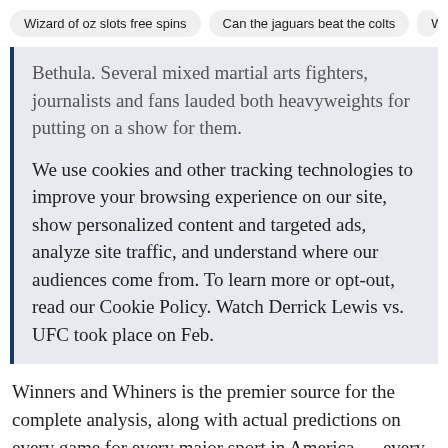Wizard of oz slots free spins | Can the jaguars beat the colts | Ws
Bethula. Several mixed martial arts fighters, journalists and fans lauded both heavyweights for putting on a show for them.

We use cookies and other tracking technologies to improve your browsing experience on our site, show personalized content and targeted ads, analyze site traffic, and understand where our audiences come from. To learn more or opt-out, read our Cookie Policy. Watch Derrick Lewis vs. UFC took place on Feb.
Winners and Whiners is the premier source for the complete analysis, along with actual predictions on every game for every major sport in America — every day! Users' Choice. These fighters will not indulge in scouting and other nonsense. Oh, and Lewis will stand 1 inch taller and hold a 4 inch reach advantage over his southpaw counterpart.